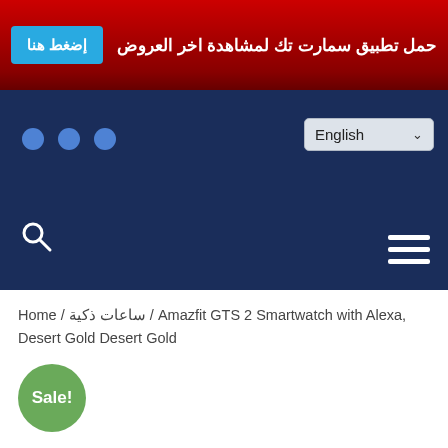حمل تطبيق سمارت تك لمشاهدة اخر العروض | إضغط هنا
[Figure (screenshot): Navigation bar with dark blue background, three blue dots on left, English language selector on right, search icon bottom-left, hamburger menu bottom-right]
Home / ساعات ذكية / Amazfit GTS 2 Smartwatch with Alexa, Desert Gold Desert Gold
Sale!